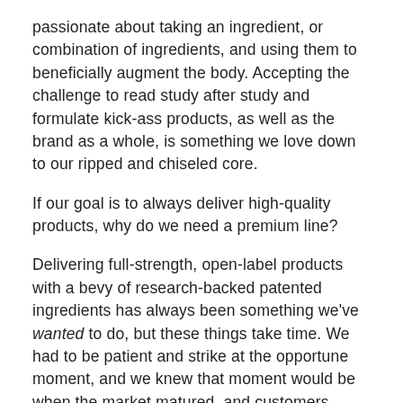passionate about taking an ingredient, or combination of ingredients, and using them to beneficially augment the body. Accepting the challenge to read study after study and formulate kick-ass products, as well as the brand as a whole, is something we love down to our ripped and chiseled core.
If our goal is to always deliver high-quality products, why do we need a premium line?
Delivering full-strength, open-label products with a bevy of research-backed patented ingredients has always been something we've wanted to do, but these things take time. We had to be patient and strike at the opportune moment, and we knew that moment would be when the market matured, and customers became familiar with technical terms, like "muscle protein synthesis" or "mammalian target of rapamycin (mTOR)."